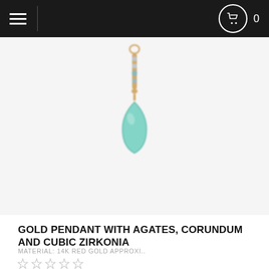Navigation header with hamburger menu and cart icon showing 0 items
[Figure (photo): Gold pendant with agates, corundum and cubic zirkonia – a teardrop shaped turquoise/teal gemstone hanging from a gold bar set with small stones, photographed on a white background]
GOLD PENDANT WITH AGATES, CORUNDUM AND CUBIC ZIRKONIA
MATERIAL: 14K RED GOLD APPROXI..
☆☆☆☆☆
$347